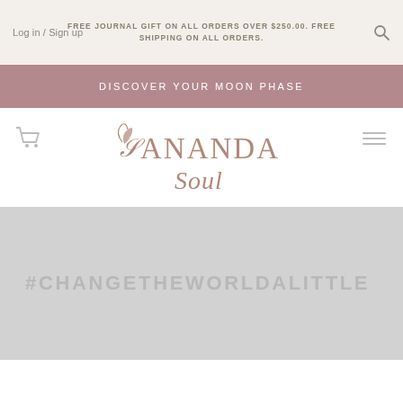Log in / Sign up
FREE JOURNAL GIFT ON ALL ORDERS OVER $250.00. FREE SHIPPING ON ALL ORDERS.
DISCOVER YOUR MOON PHASE
[Figure (logo): Ananda Soul brand logo with decorative script and ornament]
#CHANGETHEWORLDALITTLE